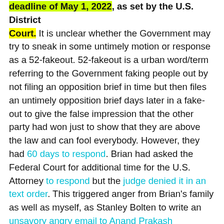deadline of May 1, 2022, as set by the U.S. District Court. It is unclear whether the Government may try to sneak in some untimely motion or response as a 52-fakeout. 52-fakeout is a urban word/term referring to the Government faking people out by not filing an opposition brief in time but then files an untimely opposition brief days later in a fake-out to give the false impression that the other party had won just to show that they are above the law and can fool everybody. However, they had 60 days to respond. Brian had asked the Federal Court for additional time for the U.S. Attorney to respond but the judge denied it in an text order. This triggered anger from Brian's family as well as myself, as Stanley Bolten to write an unsavory angry email to Anand Prakash Ramaswamy which triggered him enough to report me to abuse@protonmail.com. He